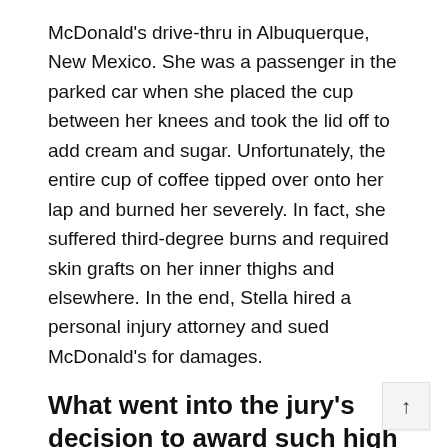McDonald's drive-thru in Albuquerque, New Mexico. She was a passenger in the parked car when she placed the cup between her knees and took the lid off to add cream and sugar. Unfortunately, the entire cup of coffee tipped over onto her lap and burned her severely. In fact, she suffered third-degree burns and required skin grafts on her inner thighs and elsewhere. In the end, Stella hired a personal injury attorney and sued McDonald's for damages.
What went into the jury's decision to award such high punitive damages?
There were other injuries
It turned out that Mrs. Liebeck was no where nea...